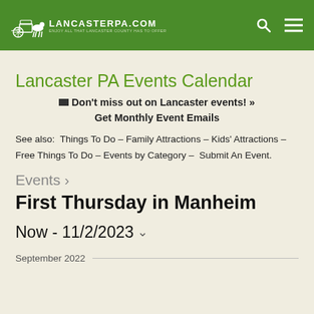LancasterPA.com
Lancaster PA Events Calendar
✉ Don't miss out on Lancaster events! » Get Monthly Event Emails
See also:  Things To Do – Family Attractions – Kids' Attractions – Free Things To Do – Events by Category –  Submit An Event.
Events ›
First Thursday in Manheim
Now - 11/2/2023 ˅
September 2022